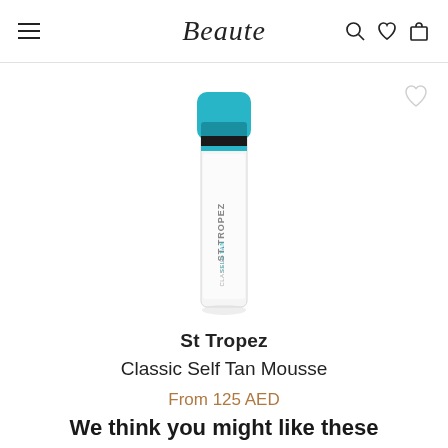Beaute
[Figure (photo): St Tropez Classic Self Tan Mousse product bottle with teal/blue cap, white cylindrical container with ST.TROPEZ branding]
St Tropez
Classic Self Tan Mousse
From 125 AED
We think you might like these